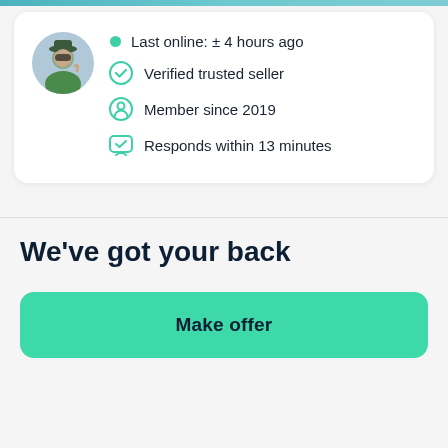[Figure (photo): Circular profile photo of a seller wearing a green jacket and hat, making a hand gesture]
Last online: ± 4 hours ago
Verified trusted seller
Member since 2019
Responds within 13 minutes
We've got your back
Make offer